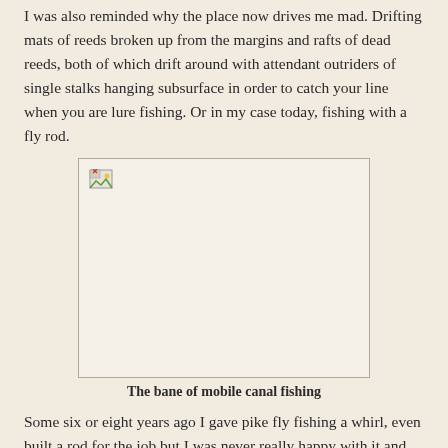I was also reminded why the place now drives me mad. Drifting mats of reeds broken up from the margins and rafts of dead reeds, both of which drift around with attendant outriders of single stalks hanging subsurface in order to catch your line when you are lure fishing. Or in my case today, fishing with a fly rod.
[Figure (photo): A broken/missing image placeholder with a small broken image icon in the top-left corner. The image would show the bane of mobile canal fishing.]
The bane of mobile canal fishing
Some six or eight years ago I gave pike fly fishing a whirl, even built a rod for the job but I was never really happy with it and stopped selling it. I wasn't too sure that pike could be landed quickly enough on fly gear. Having been assured that